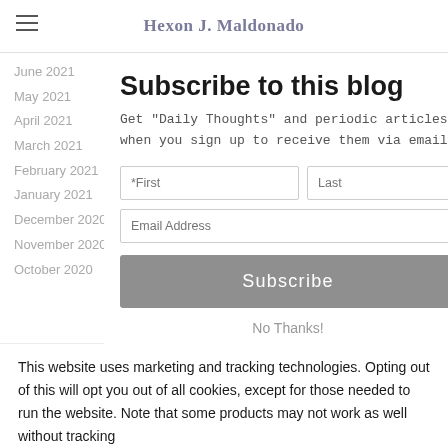Hexon J. Maldonado
June 2021
May 2021
April 2021
March 2021
February 2021
January 2021
December 2020
November 2020
October 2020
Subscribe to this blog
Get "Daily Thoughts" and periodic articles when you sign up to receive them via email
Subscribe
No Thanks!
This website uses marketing and tracking technologies. Opting out of this will opt you out of all cookies, except for those needed to run the website. Note that some products may not work as well without tracking